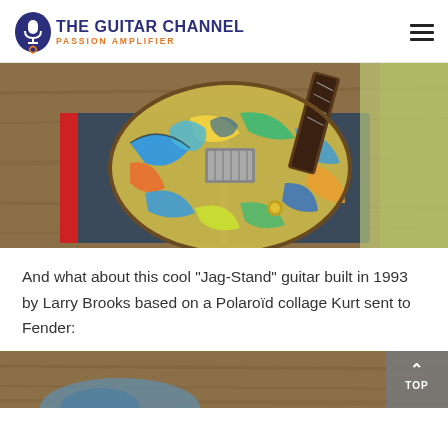THE GUITAR CHANNEL — PASSION AMPLIFIER
[Figure (photo): Close-up photo of a stained-glass patterned electric guitar body (Jag-Stand style) resting on a book on a wooden surface, with colorful blues, greens, yellows and swirling designs on the guitar top.]
And what about this cool "Jag-Stand" guitar built in 1993 by Larry Brooks based on a Polaroïd collage Kurt sent to Fender:
[Figure (photo): Partial photo of another guitar on a wooden surface, only the top edge visible.]